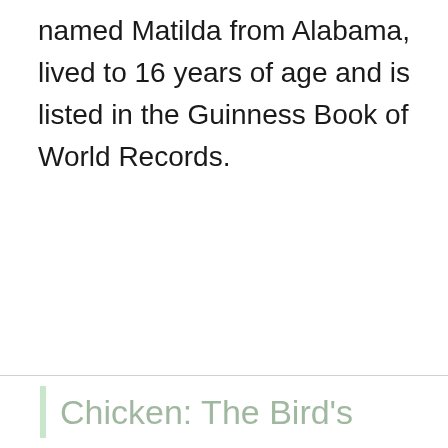named Matilda from Alabama, lived to 16 years of age and is listed in the Guinness Book of World Records.
Chicken: The Bird's